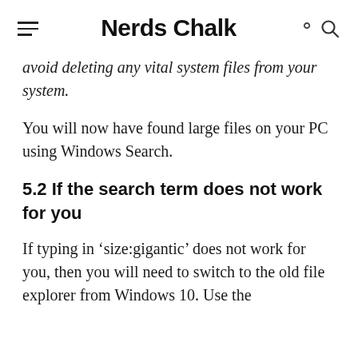Nerds Chalk
avoid deleting any vital system files from your system.
You will now have found large files on your PC using Windows Search.
5.2 If the search term does not work for you
If typing in ‘size:gigantic’ does not work for you, then you will need to switch to the old file explorer from Windows 10. Use the